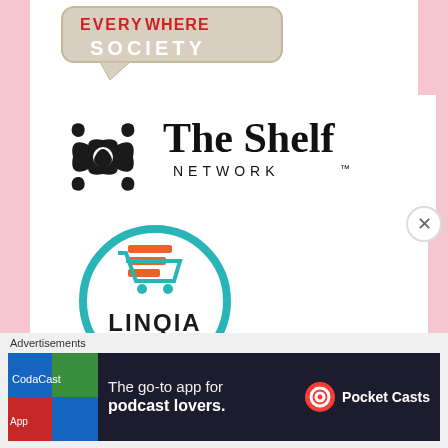[Figure (logo): Everywhere Society speech bubble logo with tan/gray speech bubble shape and 'SOCIETY' text in bold]
[Figure (logo): The Shelf Network logo with ornate black floral emblem and 'The Shelf NETWORK TM' text]
[Figure (logo): LINQIA Influencer circular teal-bordered badge with orange/teal shopping cart icon, 'LINQIA' in bold black and 'Influencer' in serif]
[Figure (logo): BD badge logo with dotted circular border, black arch, and large 'Bd' letters in black]
Advertisements
[Figure (screenshot): Pocket Casts advertisement banner: 'The go-to app for podcast lovers.' with Pocket Casts logo on dark background with colorful tile icons]